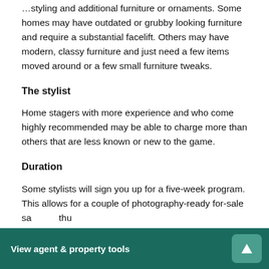Every home is unique and requires different amounts of styling and additional furniture or ornaments. Some homes may have outdated or grubby looking furniture and require a substantial facelift. Others may have modern, classy furniture and just need a few items moved around or a few small furniture tweaks.
The stylist
Home stagers with more experience and who come highly recommended may be able to charge more than others that are less known or new to the game.
Duration
Some stylists will sign you up for a five-week program. This allows for a couple of photography-ready for-sale shots to be taken every week—
View agent & property tools